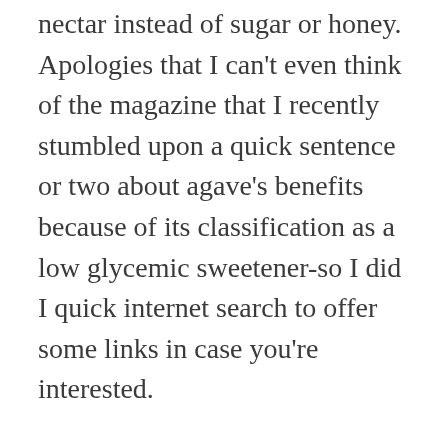nectar instead of sugar or honey. Apologies that I can't even think of the magazine that I recently stumbled upon a quick sentence or two about agave's benefits because of its classification as a low glycemic sweetener-so I did I quick internet search to offer some links in case you're interested.
No joke that there is a website called www.allaboutagave.com and I